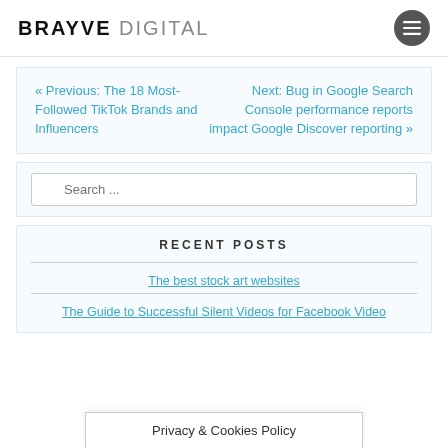BRAYVE DIGITAL
« Previous: The 18 Most-Followed TikTok Brands and Influencers
Next: Bug in Google Search Console performance reports impact Google Discover reporting »
Search ...
RECENT POSTS
The best stock art websites
The Guide to Successful Silent Videos for Facebook Video
Privacy & Cookies Policy